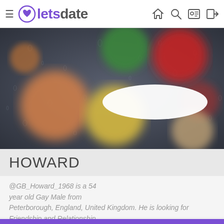letsdate navigation bar with hamburger menu, home, search, profile, and login icons
[Figure (photo): Blurry bokeh photo of colorful circles (orange, yellow, red, green, tan) resembling traffic lights seen through a rain-covered window, with a white oval redaction in the center-right]
HOWARD
@GB_Howard_1968 is a 54 year old Gay Male from Peterborough, England, United Kingdom. He is looking for Friendship and Relationship.